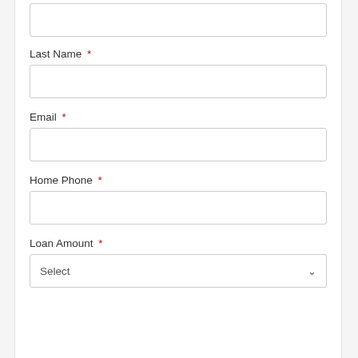[Figure (other): Empty text input field (top, partially visible)]
Last Name *
[Figure (other): Empty text input field for Last Name]
Email *
[Figure (other): Empty text input field for Email]
Home Phone *
[Figure (other): Empty text input field for Home Phone]
Loan Amount *
[Figure (other): Dropdown select field showing 'Select' with chevron for Loan Amount]